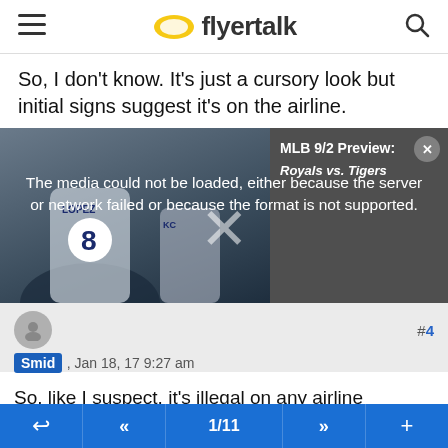flyertalk
So, I don't know. It's just a cursory look but initial signs suggest it's on the airline.
[Figure (screenshot): Embedded video player showing MLB 9/2 Preview: Royals vs. Tigers with error message: The media could not be loaded, either because the server or network failed or because the format is not supported. Background shows baseball players wearing LOPEZ #8 jerseys.]
#4
Smid , Jan 18, 17 9:27 am
So, like I suspect, it's illegal on any airline because the airline says it is....

Interesting little one on that was on flying VS J, they have an onboard bar, and often leave an open bottle behind it. A busy
← « 1/11 »» +